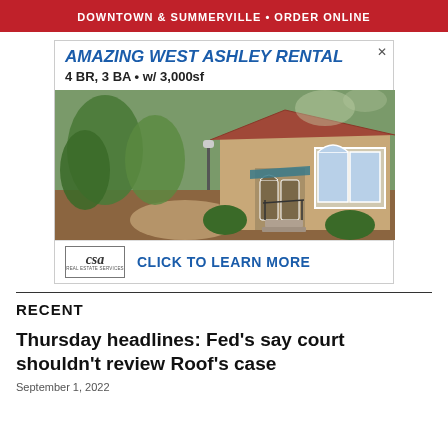DOWNTOWN & SUMMERVILLE • ORDER ONLINE
[Figure (other): Real estate advertisement for 'Amazing West Ashley Rental' — 4 BR, 3 BA w/ 3,000sf. Shows a photo of a Mediterranean-style home with lush green landscaping. Includes CSA Real Estate Services logo and 'CLICK TO LEARN MORE' call to action.]
RECENT
Thursday headlines: Fed's say court shouldn't review Roof's case
September 1, 2022